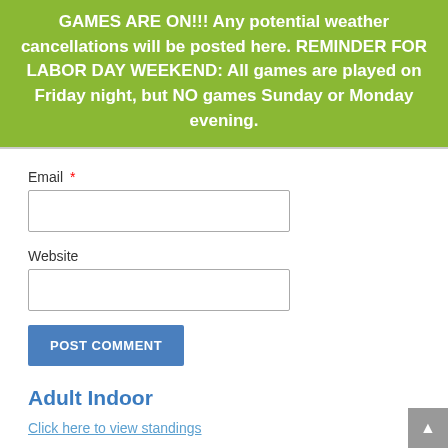GAMES ARE ON!!! Any potential weather cancellations will be posted here. REMINDER FOR LABOR DAY WEEKEND: All games are played on Friday night, but NO games Sunday or Monday evening.
Email *
Website
POST COMMENT
Adult Indoor
Click here to view standings